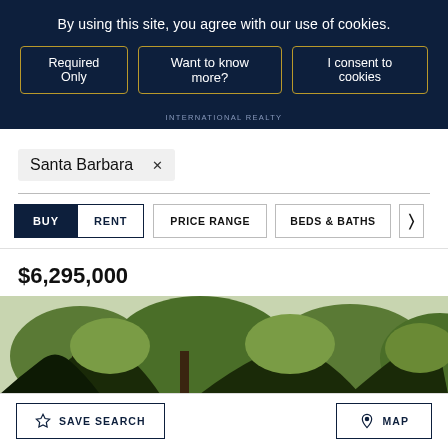By using this site, you agree with our use of cookies.
Required Only | Want to know more? | I consent to cookies
INTERNATIONAL REALTY
Santa Barbara ×
BUY  RENT  PRICE RANGE  BEDS & BATHS
$6,295,000
6 Bedrooms • 5 Bathrooms • 4,354 Sq Ft. • 22.42 Acre(s)
Marketed By Sotheby's International Realty - Montecito - Coast Village Road Brokerage
[Figure (photo): Property photo showing trees and landscape]
SAVE SEARCH
MAP